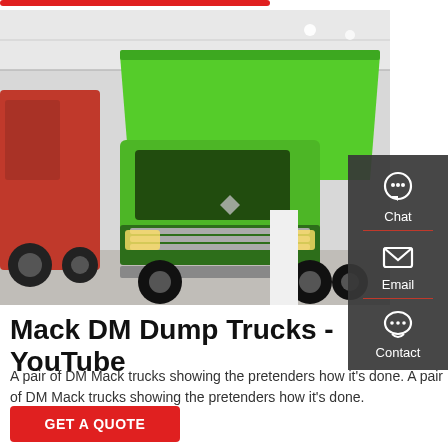[Figure (photo): A bright green dump truck (SINOTRUK/Howo style) displayed at an indoor exhibition hall, with a red truck visible on the left. The green truck has a raised dump bed and chrome front grille.]
Mack DM Dump Trucks - YouTube
A pair of DM Mack trucks showing the pretenders how it's done. A pair of DM Mack trucks showing the pretenders how it's done.
GET A QUOTE